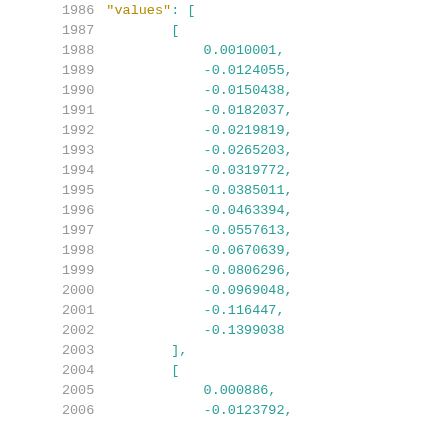Code listing showing JSON array of numeric values with line numbers 1986-2006
1986    "values": [
1987        [
1988            0.0010001,
1989            -0.0124055,
1990            -0.0150438,
1991            -0.0182037,
1992            -0.0219819,
1993            -0.0265203,
1994            -0.0319772,
1995            -0.0385011,
1996            -0.0463394,
1997            -0.0557613,
1998            -0.0670639,
1999            -0.0806296,
2000            -0.0969048,
2001            -0.116447,
2002            -0.1399038
2003        ],
2004        [
2005            0.000886,
2006            -0.0123792,